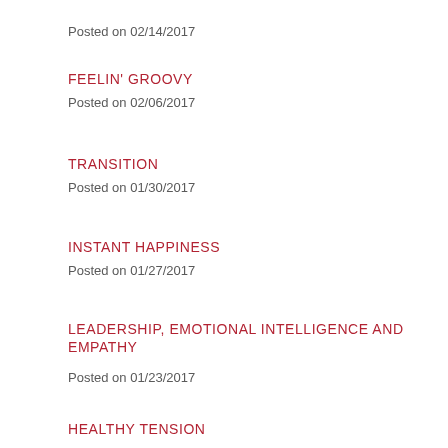Posted on 02/14/2017
FEELIN' GROOVY
Posted on 02/06/2017
TRANSITION
Posted on 01/30/2017
INSTANT HAPPINESS
Posted on 01/27/2017
LEADERSHIP, EMOTIONAL INTELLIGENCE AND EMPATHY
Posted on 01/23/2017
HEALTHY TENSION